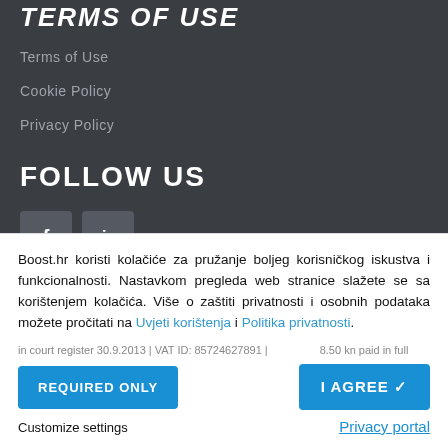TERMS OF USE
Terms of Use
Cookie Policy
Privacy Policy
FOLLOW US
[Figure (illustration): Social media icons: Facebook (f) and LinkedIn (in) buttons]
Boost.hr koristi kolačiće za pružanje boljeg korisničkog iskustva i funkcionalnosti. Nastavkom pregleda web stranice slažete se sa korištenjem kolačića. Više o zaštiti privatnosti i osobnih podataka možete pročitati na Uvjeti korištenja i Politika privatnosti.
REQUIRED ONLY
I AGREE ✓
Customize settings
Privacy portal